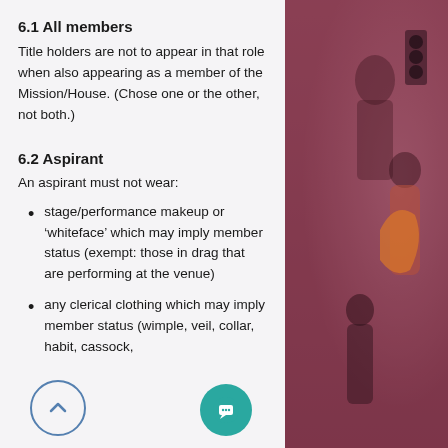6.1 All members
Title holders are not to appear in that role when also appearing as a member of the Mission/House. (Chose one or the other, not both.)
6.2 Aspirant
An aspirant must not wear:
stage/performance makeup or ‘whiteface’ which may imply member status (exempt: those in drag that are performing at the venue)
any clerical clothing which may imply member status (wimple, veil, collar, habit, cassock, …
[Figure (photo): Background photo of people at an event, overlaid with pink/purple tones]